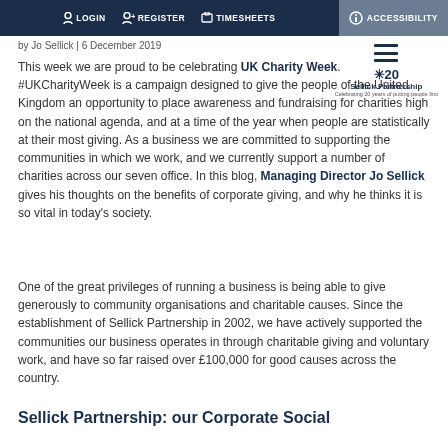LOGIN  REGISTER  TIMESHEETS  ACCESSIBILITY
by Jo Sellick | 6 December 2019
This week we are proud to be celebrating UK Charity Week. #UKCharityWeek is a campaign designed to give the people of the United Kingdom an opportunity to place awareness and fundraising for charities high on the national agenda, and at a time of the year when people are statistically at their most giving. As a business we are committed to supporting the communities in which we work, and we currently support a number of charities across our seven office. In this blog, Managing Director Jo Sellick gives his thoughts on the benefits of corporate giving, and why he thinks it is so vital in today's society.
One of the great privileges of running a business is being able to give generously to community organisations and charitable causes. Since the establishment of Sellick Partnership in 2002, we have actively supported the communities our business operates in through charitable giving and voluntary work, and have so far raised over £100,000 for good causes across the country.
Sellick Partnership: our Corporate Social Responsibility